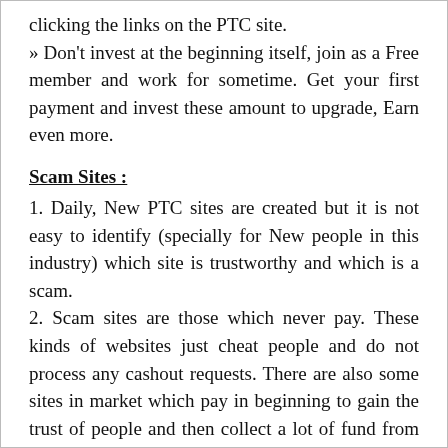clicking the links on the PTC site.
» Don't invest at the beginning itself, join as a Free member and work for sometime. Get your first payment and invest these amount to upgrade, Earn even more.
Scam Sites :
1. Daily, New PTC sites are created but it is not easy to identify (specially for New people in this industry) which site is trustworthy and which is a scam.
2. Scam sites are those which never pay. These kinds of websites just cheat people and do not process any cashout requests. There are also some sites in market which pay in beginning to gain the trust of people and then collect a lot of fund from them by giving some promotional offers or discount, and then immediately stop paying and go scam.
3. The older PTC sites are more trustworthy but